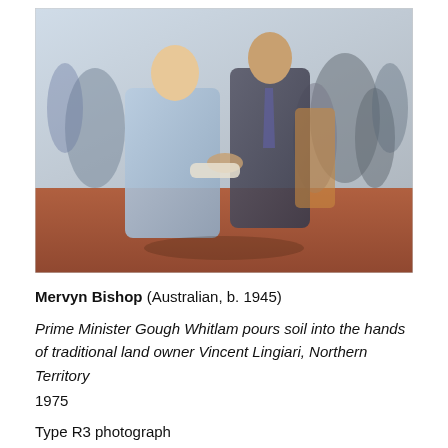[Figure (photo): Historical colour photograph of two men outdoors. One man in a light blue shirt is pouring soil into the raised hands of another man in a dark grey suit. A crowd of people is visible in the background. The ground is red earth.]
Mervyn Bishop (Australian, b. 1945)
Prime Minister Gough Whitlam pours soil into the hands of traditional land owner Vincent Lingiari, Northern Territory 1975
Type R3 photograph
Art Gallery of New South Wales, Hallmark Cards